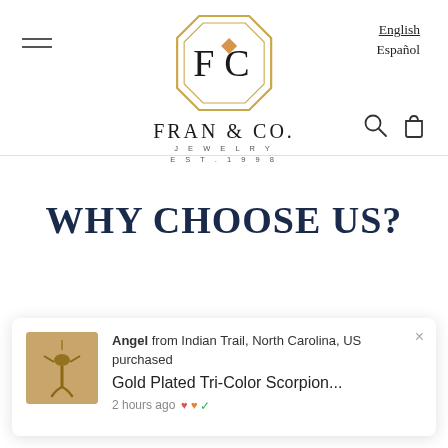[Figure (logo): Fran & Co. Jewelry logo — octagonal gold border frame with FC initials and a diamond accent inside, company name FRAN & CO. JEWELRY EST.1998 below]
English
Español
[Figure (infographic): Hamburger menu icon (three horizontal lines) on the left; search icon (magnifying glass) and shopping bag icon on the right]
WHY CHOOSE US?
[Figure (photo): Gold scorpion pendant necklace on a gold chain, shown in a small square thumbnail]
Angel from Indian Trail, North Carolina, US purchased
Gold Plated Tri-Color Scorpion...
2 hours ago